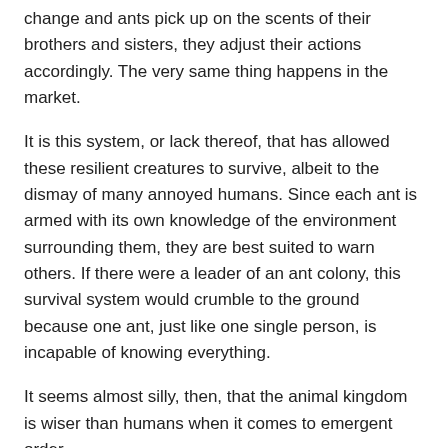change and ants pick up on the scents of their brothers and sisters, they adjust their actions accordingly. The very same thing happens in the market.
It is this system, or lack thereof, that has allowed these resilient creatures to survive, albeit to the dismay of many annoyed humans. Since each ant is armed with its own knowledge of the environment surrounding them, they are best suited to warn others. If there were a leader of an ant colony, this survival system would crumble to the ground because one ant, just like one single person, is incapable of knowing everything.
It seems almost silly, then, that the animal kingdom is wiser than humans when it comes to emergent order.
Rules, Rules, Rules